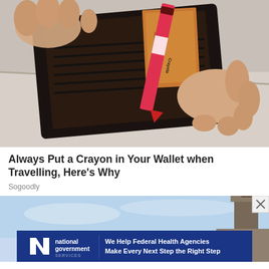[Figure (photo): Hands holding open a dark leather wallet with a red Crayola crayon and some currency visible inside, photographed on a light background.]
Always Put a Crayon in Your Wallet when Travelling, Here's Why
Sogoodly
[Figure (photo): Advertisement banner for National Government Services with blue sky and chimney in background. Banner reads: 'We Help Federal Health Agencies Make Every Next Step the Right Step']